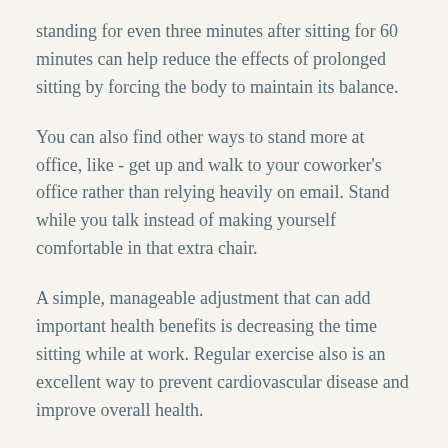standing for even three minutes after sitting for 60 minutes can help reduce the effects of prolonged sitting by forcing the body to maintain its balance.
You can also find other ways to stand more at office, like - get up and walk to your coworker's office rather than relying heavily on email. Stand while you talk instead of making yourself comfortable in that extra chair.
A simple, manageable adjustment that can add important health benefits is decreasing the time sitting while at work. Regular exercise also is an excellent way to prevent cardiovascular disease and improve overall health.